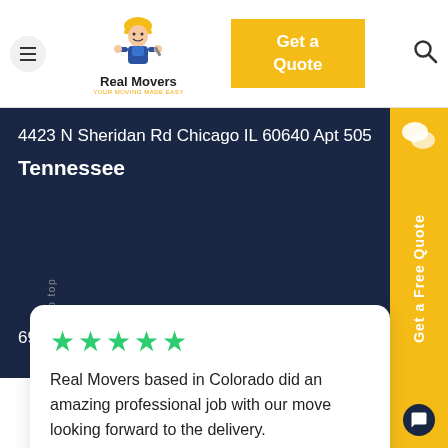Real Movers — Get a Quote
4423 N Sheridan Rd Chicago IL 60640 Apt 505
Tennessee
695 Nashville Pk Suite 148 Gallatin, TN 37066
★★★★★ Real Movers based in Colorado did an amazing professional job with our move looking forward to the delivery.